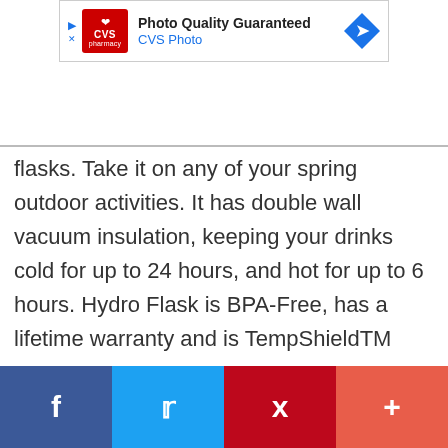[Figure (other): CVS Photo advertisement banner: Photo Quality Guaranteed, CVS Photo, with blue navigation arrow icon on the right]
flasks. Take it on any of your spring outdoor activities. It has double wall vacuum insulation, keeping your drinks cold for up to 24 hours, and hot for up to 6 hours. Hydro Flask is BPA-Free, has a lifetime warranty and is TempShieldTM protected. They come in all different colors and sizes. Get your 18 oz Standard Mouth bottle today for only $25.00.
[Figure (other): Social media sharing bar with Facebook, Twitter, Pinterest, and More (+) buttons]